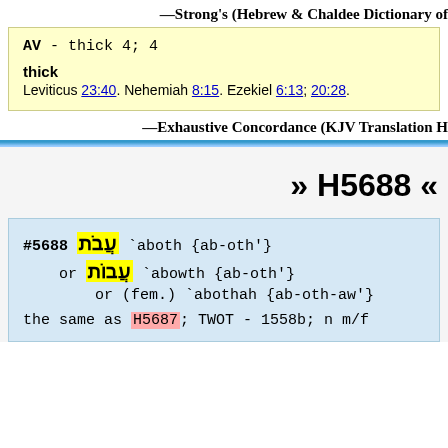—Strong's (Hebrew & Chaldee Dictionary of
AV - thick 4; 4
thick
Leviticus 23:40. Nehemiah 8:15. Ezekiel 6:13; 20:28.
—Exhaustive Concordance (KJV Translation H
» H5688 «
#5688 עֲבֹת `aboth {ab-oth'}
  or עֲבוֹת `abowth {ab-oth'}
    or (fem.) `abothah {ab-oth-aw'}

the same as H5687; TWOT - 1558b; n m/f